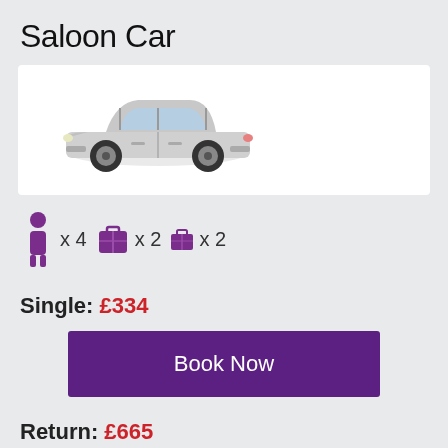Saloon Car
[Figure (illustration): Silver/white saloon car (Toyota Prius style) facing left, side view]
person icon x 4  large suitcase x 2  small suitcase x 2
Single: £334
Book Now
Return: £665
Book Now (partial)